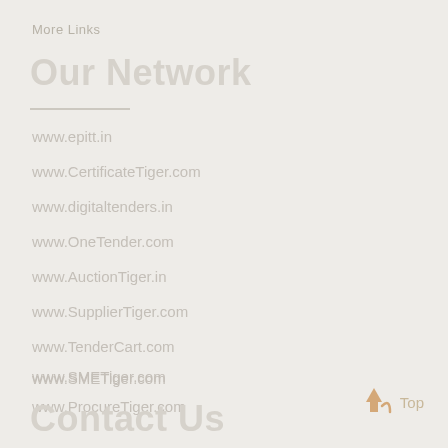More Links
Our Network
www.epitt.in
www.CertificateTiger.com
www.digitaltenders.in
www.OneTender.com
www.AuctionTiger.in
www.SupplierTiger.com
www.TenderCart.com
www.SMETiger.com
www.ProcureTiger.com
www.SolarTiger.in
Contact Us